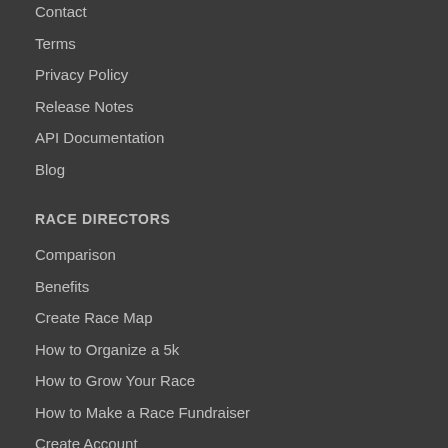Contact
Terms
Privacy Policy
Release Notes
API Documentation
Blog
RACE DIRECTORS
Comparison
Benefits
Create Race Map
How to Organize a 5k
How to Grow Your Race
How to Make a Race Fundraiser
Create Account
FAQs
Advertise Your Race
PARTICIPANTS